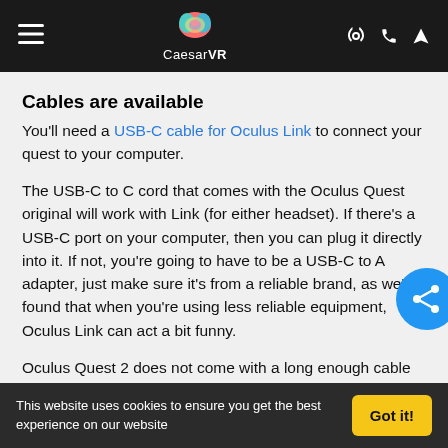CaesarVR
Cables are available
You'll need a USB-C cable for Oculus Link to connect your quest to your computer.
The USB-C to C cord that comes with the Oculus Quest original will work with Link (for either headset). If there's a USB-C port on your computer, then you can plug it directly into it. If not, you're going to have to be a USB-C to A adapter, just make sure it's from a reliable brand, as we've found that when you're using less reliable equipment, Oculus Link can act a bit funny.
Oculus Quest 2 does not come with a long enough cable for use with Oculus Link, so you're going to have to buy one yourself. For $79, which is a thin, flexible 5m optical c…
This website uses cookies to ensure you get the best experience on our website